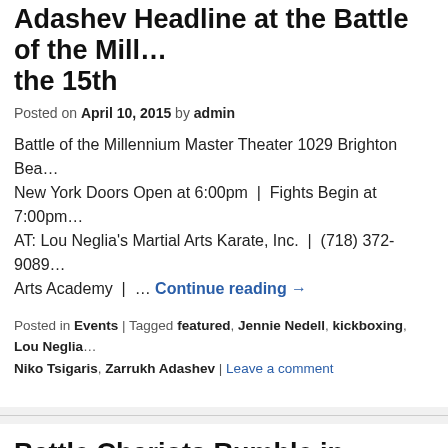Adashev Headline at the Battle of the Mill… the 15th
Posted on April 10, 2015 by admin
Battle of the Millennium Master Theater 1029 Brighton Bea… New York Doors Open at 6:00pm | Fights Begin at 7:00pm AT: Lou Neglia's Martial Arts Karate, Inc. | (718) 372-9089 Arts Academy | … Continue reading →
Posted in Events | Tagged featured, Jennie Nedell, kickboxing, Lou Neglia… Niko Tsigaris, Zarrukh Adashev | Leave a comment
Battle Chariots Rumble in Canyons of Co…
Posted on July 1, 2014 by admin
Just in case your search engine's algorithm defaults to box… her way up the rankings in kin sports like ours. That's beca… rankings. If you think Glory Sports International (GSI) does… reading →